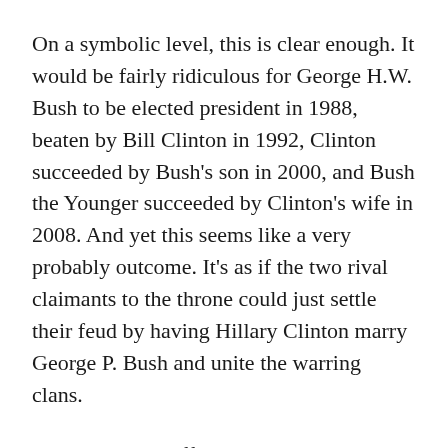On a symbolic level, this is clear enough. It would be fairly ridiculous for George H.W. Bush to be elected president in 1988, beaten by Bill Clinton in 1992, Clinton succeeded by Bush's son in 2000, and Bush the Younger succeeded by Clinton's wife in 2008. And yet this seems like a very probably outcome. It's as if the two rival claimants to the throne could just settle their feud by having Hillary Clinton marry George P. Bush and unite the warring clans.
What does the difference mean in practice? Obama's people speak of a distinction between transactional and transformational politics, with